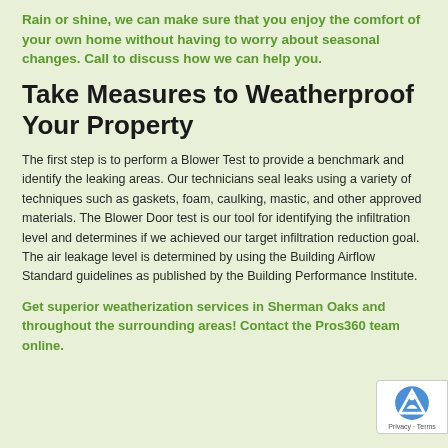Rain or shine, we can make sure that you enjoy the comfort of your own home without having to worry about seasonal changes. Call to discuss how we can help you.
Take Measures to Weatherproof Your Property
The first step is to perform a Blower Test to provide a benchmark and identify the leaking areas. Our technicians seal leaks using a variety of techniques such as gaskets, foam, caulking, mastic, and other approved materials. The Blower Door test is our tool for identifying the infiltration level and determines if we achieved our target infiltration reduction goal. The air leakage level is determined by using the Building Airflow Standard guidelines as published by the Building Performance Institute.
Get superior weatherization services in Sherman Oaks and throughout the surrounding areas! Contact the Pros360 team online.